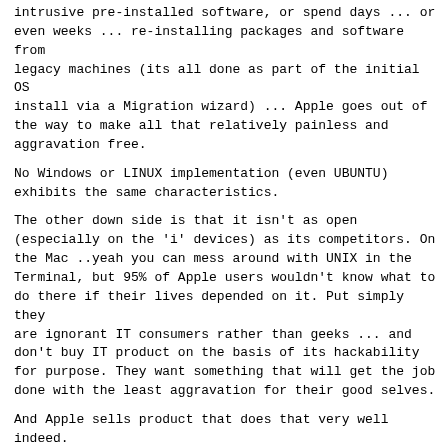intrusive pre-installed software, or spend days ... or even weeks ... re-installing packages and software from legacy machines (its all done as part of the initial OS install via a Migration wizard) ... Apple goes out of the way to make all that relatively painless and aggravation free.
No Windows or LINUX implementation (even UBUNTU) exhibits the same characteristics.
The other down side is that it isn't as open (especially on the 'i' devices) as its competitors. On the Mac ..yeah you can mess around with UNIX in the Terminal, but 95% of Apple users wouldn't know what to do there if their lives depended on it. Put simply they are ignorant IT consumers rather than geeks ... and don't buy IT product on the basis of its hackability for purpose. They want something that will get the job done with the least aggravation for their good selves.
And Apple sells product that does that very well indeed.
Regards,
---
On 16/10/2011, at 9:23 PM, Bernard Robertson-Dunn wrote:
> On 16/10/2011 6:49 PM, Stephen Wilson wrote: